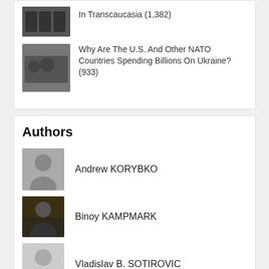In Transcaucasia (1,382)
Why Are The U.S. And Other NATO Countries Spending Billions On Ukraine? (933)
Authors
Andrew KORYBKO
Binoy KAMPMARK
Vladislav B. SOTIROVIC